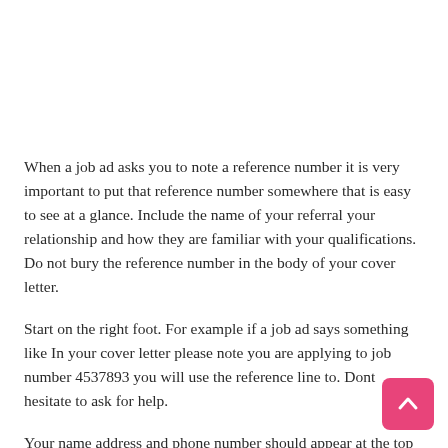When a job ad asks you to note a reference number it is very important to put that reference number somewhere that is easy to see at a glance. Include the name of your referral your relationship and how they are familiar with your qualifications. Do not bury the reference number in the body of your cover letter.
Start on the right foot. For example if a job ad says something like In your cover letter please note you are applying to job number 4537893 you will use the reference line to. Dont hesitate to ask for help.
Your name address and phone number should appear at the top